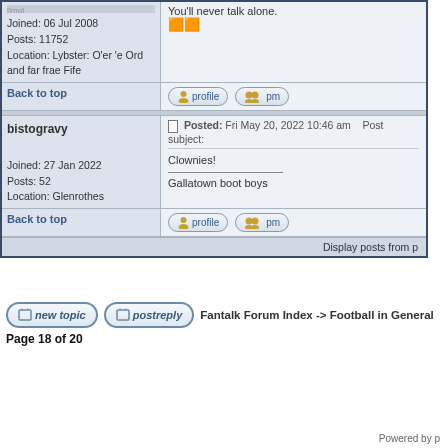Joined: 06 Jul 2008
Posts: 11752
Location: Lybster: O'er 'e Ord and far frae Fife
You'll never talk alone.
🟧🟧
Back to top
bistogravy
Joined: 27 Jan 2022
Posts: 52
Location: Glenrothes
Posted: Fri May 20, 2022 10:46 am   Post subject:
Clownies!
_______________
Gallatown boot boys
Back to top
Display posts from p
Fantalk Forum Index -> Football in General
Page 18 of 20
Powered by p